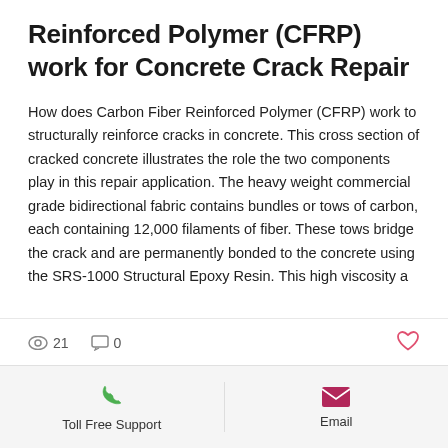Reinforced Polymer (CFRP) work for Concrete Crack Repair
How does Carbon Fiber Reinforced Polymer (CFRP) work to structurally reinforce cracks in concrete. This cross section of cracked concrete illustrates the role the two components play in this repair application. The heavy weight commercial grade bidirectional fabric contains bundles or tows of carbon, each containing 12,000 filaments of fiber. These tows bridge the crack and are permanently bonded to the concrete using the SRS-1000 Structural Epoxy Resin. This high viscosity a
👁 21  💬 0  ❤  |  Toll Free Support  |  Email